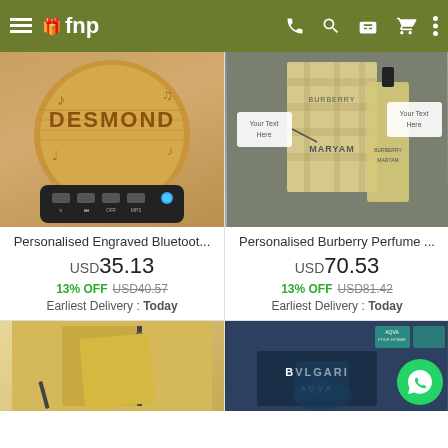fnp - navigation bar with menu, phone, search, gift, cart, more icons
[Figure (screenshot): Product listing page from fnp (ferns n petals) mobile app showing 4 products in a 2x2 grid: personalised engraved bluetooth speaker, personalised burberry perfume, personalised wooden notebook, and Bvlgari Aqva cologne set.]
Personalised Engraved Bluetoot...
USD35.13
13% OFF USD40.57
Earliest Delivery : Today
Personalised Burberry Perfume ...
USD70.53
13% OFF USD81.42
Earliest Delivery : Today